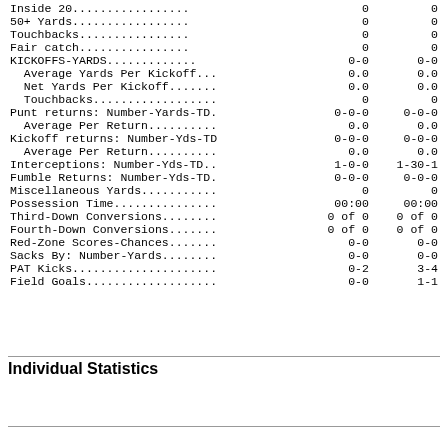| Statistic | Team1 | Team2 |
| --- | --- | --- |
| Inside 20................. | 0 | 0 |
| 50+ Yards................. | 0 | 0 |
| Touchbacks................ | 0 | 0 |
| Fair catch................ | 0 | 0 |
| KICKOFFS-YARDS............. | 0-0 | 0-0 |
|   Average Yards Per Kickoff... | 0.0 | 0.0 |
|   Net Yards Per Kickoff....... | 0.0 | 0.0 |
|   Touchbacks.................. | 0 | 0 |
| Punt returns: Number-Yards-TD. | 0-0-0 | 0-0-0 |
|   Average Per Return.......... | 0.0 | 0.0 |
| Kickoff returns: Number-Yds-TD | 0-0-0 | 0-0-0 |
|   Average Per Return.......... | 0.0 | 0.0 |
| Interceptions: Number-Yds-TD.. | 1-0-0 | 1-30-1 |
| Fumble Returns: Number-Yds-TD. | 0-0-0 | 0-0-0 |
| Miscellaneous Yards........... | 0 | 0 |
| Possession Time............... | 00:00 | 00:00 |
| Third-Down Conversions........ | 0 of 0 | 0 of 0 |
| Fourth-Down Conversions....... | 0 of 0 | 0 of 0 |
| Red-Zone Scores-Chances....... | 0-0 | 0-0 |
| Sacks By: Number-Yards........ | 0-0 | 0-0 |
| PAT Kicks..................... | 0-2 | 3-4 |
| Field Goals................... | 0-0 | 1-1 |
Individual Statistics